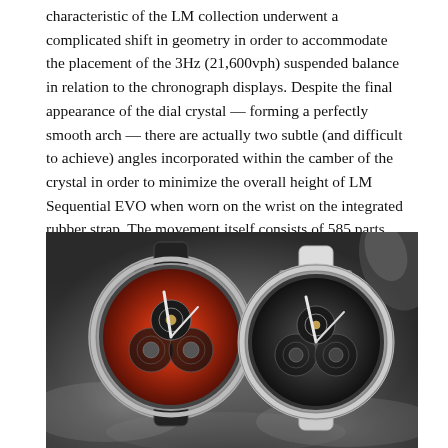characteristic of the LM collection underwent a complicated shift in geometry in order to accommodate the placement of the 3Hz (21,600vph) suspended balance in relation to the chronograph displays. Despite the final appearance of the dial crystal — forming a perfectly smooth arch — there are actually two subtle (and difficult to achieve) angles incorporated within the camber of the crystal in order to minimize the overall height of LM Sequential EVO when worn on the wrist on the integrated rubber strap. The movement itself consists of 585 parts, power reserve is 72 hours.
[Figure (photo): Two luxury watches displayed side by side, both showing exposed mechanical movements. The left watch has an orange/red accent dial with dark movement details and light-colored hour hand. The right watch has a silver/grey aesthetic with similar skeletonized movement. Both watches are on rubber straps and photographed with a smoky, dark atmospheric background.]